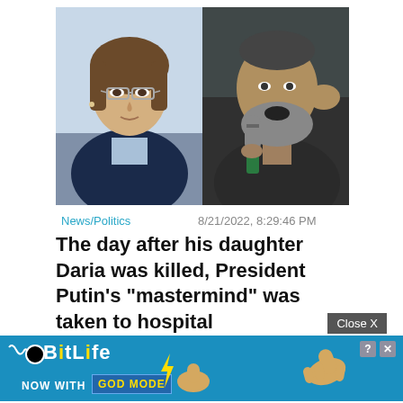[Figure (photo): Two-photo composite: left shows a young woman with brown hair and glasses wearing a dark blazer over a light blue top; right shows an older bearded man speaking into a microphone with a raised fist.]
News/Politics
8/21/2022, 8:29:46 PM
The day after his daughter Daria was killed, President Putin's "mastermind" was taken to hospital
[Figure (other): BitLife advertisement banner: blue background with BitLife logo, text 'NOW WITH GOD MODE', lightning bolt graphic, hand/thumb graphics, close and question mark buttons.]